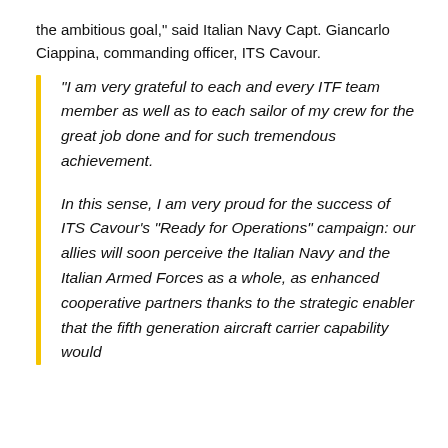the ambitious goal," said Italian Navy Capt. Giancarlo Ciappina, commanding officer, ITS Cavour.
“I am very grateful to each and every ITF team member as well as to each sailor of my crew for the great job done and for such tremendous achievement.

In this sense, I am very proud for the success of ITS Cavour’s “Ready for Operations” campaign: our allies will soon perceive the Italian Navy and the Italian Armed Forces as a whole, as enhanced cooperative partners thanks to the strategic enabler that the fifth generation aircraft carrier capability would